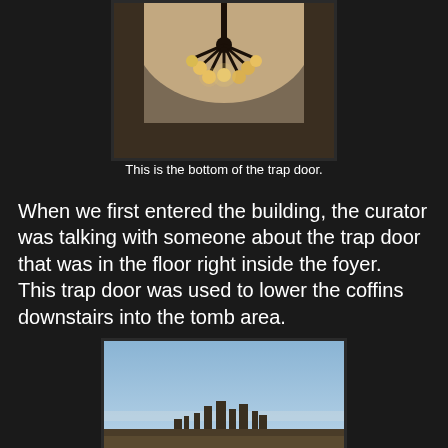[Figure (photo): Photo of the bottom of a trap door showing a chandelier with multiple globe bulbs hanging from the ceiling inside an arched alcove.]
This is the bottom of the trap door.
When we first entered the building, the curator was talking with someone about the trap door that was in the floor right inside the foyer.   This trap door was used to lower the coffins downstairs into the tomb area.
[Figure (photo): Aerial or elevated photo of a city skyline viewed from a distance under a clear blue sky.]